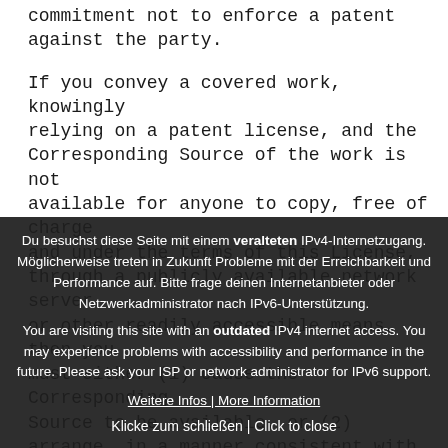commitment not to enforce a patent against the party.
If you convey a covered work, knowingly relying on a patent license, and the Corresponding Source of the work is not available for anyone to copy, free of charge and under the terms of this License, through a publicly available network server or other readily accessible means, then you must either (1) cause the Corresponding Source to be available, or (2) arrange, in a manner consistent with the requirements of this License, to arrange. In a manner consistent with the requirements...
Knowingly relying on a patent license. actual knowledge that, without the patent license, your conveying of the covered work in a country...
Du besuchst diese Seite mit einem veralteten IPv4-Internetzugang. Möglicherweise treten in Zukunft Probleme mit der Erreichbarkeit und Performance auf. Bitte frage deinen Internetanbieter oder Netzwerkadministrator nach IPv6-Unterstützung.
You are visiting this site with an outdated IPv4 internet access. You may experience problems with accessibility and performance in the future. Please ask your ISP or network administrator for IPv6 support.
Weitere Infos | More Information
Klicke zum schließen | Click to close